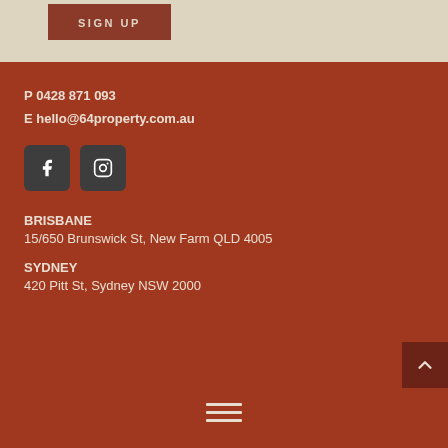SIGN UP
P 0428 871 093
E hello@64property.com.au
[Figure (other): Facebook and Instagram social media icons in dark square boxes]
BRISBANE
15/650 Brunswick St, New Farm QLD 4005
SYDNEY
420 Pitt St, Sydney NSW 2000
[Figure (other): Hamburger menu icon (three horizontal lines)]